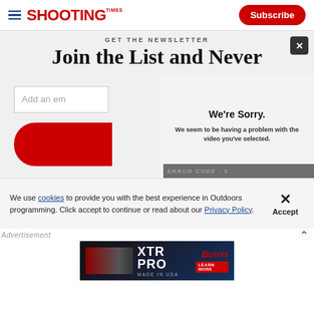Shooting Times | Subscribe
GET THE NEWSLETTER
Join the List and Never
Add an em
[Figure (screenshot): Video error message overlay: We're Sorry. We seem to be having a problem with the video you've selected. Error code shown at bottom.]
We use cookies to provide you with the best experience in Outdoors programming. Click accept to continue or read about our Privacy Policy.
Advertisement
[Figure (photo): Burris XTR PRO rifle scope advertisement. Shows a scope on a rifle with text XTR PRO, MADE IN USA, Burris logo, and LEARN MORE button.]